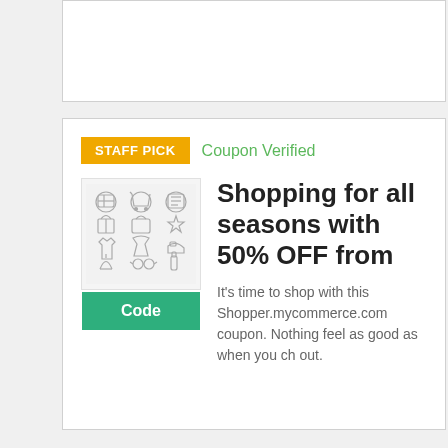[Figure (other): Top card placeholder area, empty white card with border]
STAFF PICK
Coupon Verified
[Figure (illustration): Product thumbnail with shopping/commerce icons sketch on light grey background]
Code
Shopping for all seasons with 50% OFF from
It's time to shop with this Shopper.mycommerce.com coupon. Nothing feel as good as when you ch out.